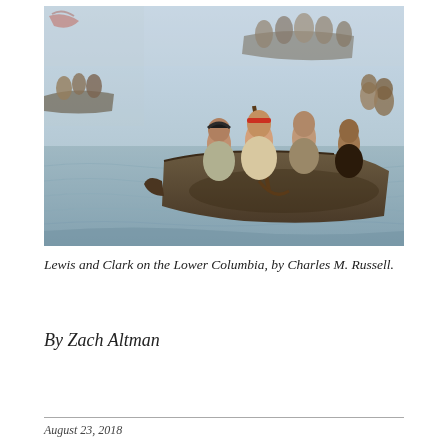[Figure (illustration): Painting depicting Lewis and Clark on the Lower Columbia river, showing men in canoes paddling through water, by Charles M. Russell.]
Lewis and Clark on the Lower Columbia, by Charles M. Russell.
By Zach Altman
August 23, 2018